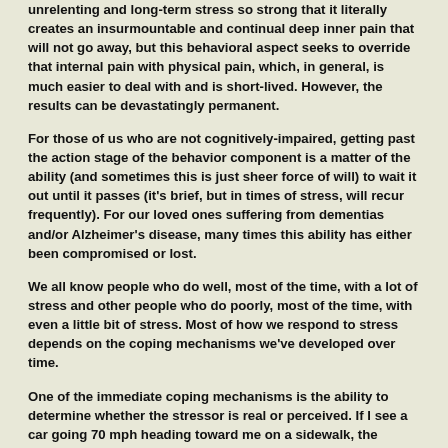unrelenting and long-term stress so strong that it literally creates an insurmountable and continual deep inner pain that will not go away, but this behavioral aspect seeks to override that internal pain with physical pain, which, in general, is much easier to deal with and is short-lived. However, the results can be devastatingly permanent.
For those of us who are not cognitively-impaired, getting past the action stage of the behavior component is a matter of the ability (and sometimes this is just sheer force of will) to wait it out until it passes (it's brief, but in times of stress, will recur frequently). For our loved ones suffering from dementias and/or Alzheimer's disease, many times this ability has either been compromised or lost.
We all know people who do well, most of the time, with a lot of stress and other people who do poorly, most of the time, with even a little bit of stress. Most of how we respond to stress depends on the coping mechanisms we've developed over time.
One of the immediate coping mechanisms is the ability to determine whether the stressor is real or perceived. If I see a car going 70 mph heading toward me on a sidewalk, the stress is